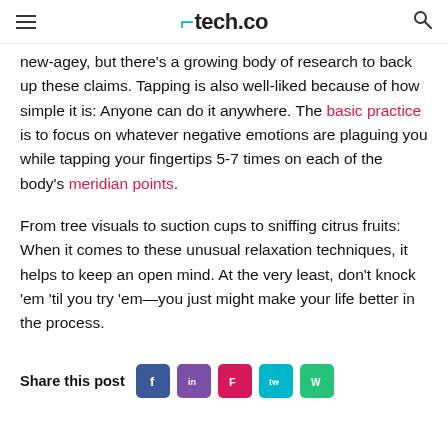tech.co
new-agey, but there's a growing body of research to back up these claims. Tapping is also well-liked because of how simple it is: Anyone can do it anywhere. The basic practice is to focus on whatever negative emotions are plaguing you while tapping your fingertips 5-7 times on each of the body's meridian points.
From tree visuals to suction cups to sniffing citrus fruits: When it comes to these unusual relaxation techniques, it helps to keep an open mind. At the very least, don't knock 'em 'til you try 'em—you just might make your life better in the process.
Share this post